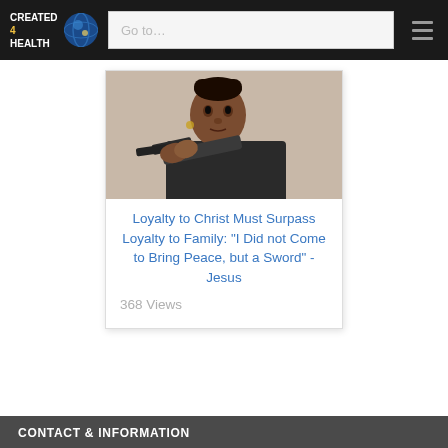CREATED 4 HEALTH — Go to... navigation header
[Figure (photo): A woman aiming a handgun directly at the camera with a serious expression. Close-up photo.]
Loyalty to Christ Must Surpass Loyalty to Family: "I Did not Come to Bring Peace, but a Sword" - Jesus
368 Views
CONTACT & INFORMATION